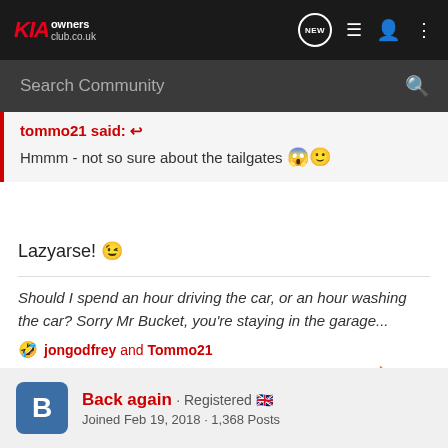KIA owners club.co.uk
Search Community
tommo21 said: ↩ Hmmm - not so sure about the tailgates 😱🙂
Lazyarse! 😉
Should I spend an hour driving the car, or an hour washing the car? Sorry Mr Bucket, you're staying in the garage...
🤣 jongodfrey and Tommo21
Back again · Registered 🇬🇧 Joined Feb 19, 2018 · 1,368 Posts